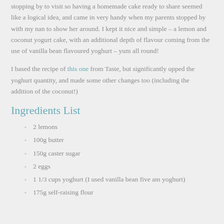stopping by to visit so having a homemade cake ready to share seemed like a logical idea, and came in very handy when my parents stopped by with my nan to show her around. I kept it nice and simple – a lemon and coconut yogurt cake, with an additional depth of flavour coming from the use of vanilla bean flavoured yoghurt – yum all round!
I based the recipe of this one from Taste, but significantly upped the yoghurt quantity, and made some other changes too (including the addition of the coconut!)
Ingredients List
2 lemons
100g butter
150g caster sugar
2 eggs
1 1/3 cups yoghurt (I used vanilla bean five am yoghurt)
175g self-raising flour